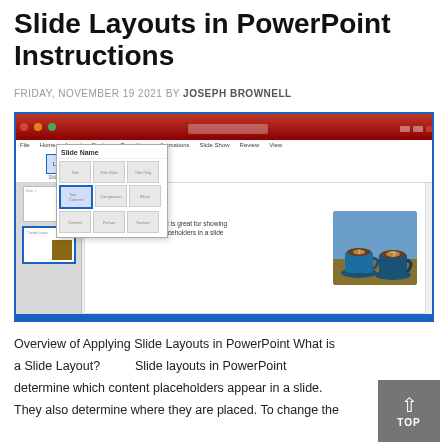Slide Layouts in PowerPoint Instructions
FRIDAY, NOVEMBER 19 2021 BY JOSEPH BROWNELL
[Figure (screenshot): Screenshot of Microsoft PowerPoint showing the Slide Layout dropdown menu open with various layout options visible. The main slide area shows a 'Content Layout' slide with a bullet point reading 'This type of slide layout is great for showing two separate content placeholders in a slide' and an image of two blue coffee cups with latte art.]
Overview of Applying Slide Layouts in PowerPoint What is a Slide Layout?          Slide layouts in PowerPoint determine which content placeholders appear in a slide. They also determine where they are placed. To change the